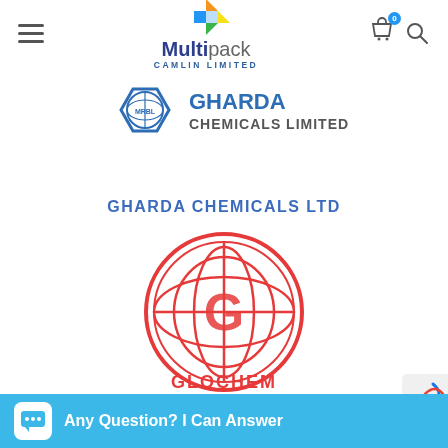Multipack CAMLIN LIMITED
[Figure (logo): Gharda Chemicals Limited logo — hexagonal blue icon with 'MRBL' text and globe, next to bold text 'GHARDA CHEMICALS LIMITED']
GHARDA CHEMICALS LTD
[Figure (logo): Glochem Industries logo — circular red badge with globe and stylized 'G' letter, with 'GLOCHEM' text below]
GLOCHEM INDUSTRIES LTD
Any Question? I Can Answer